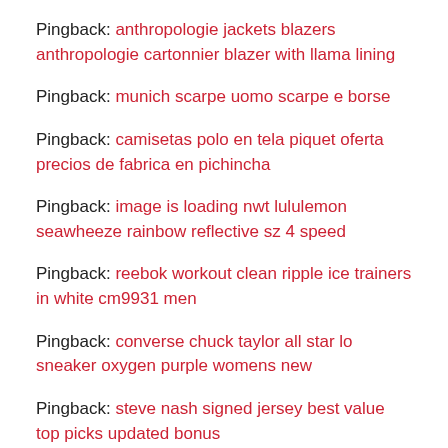Pingback: anthropologie jackets blazers anthropologie cartonnier blazer with llama lining
Pingback: munich scarpe uomo scarpe e borse
Pingback: camisetas polo en tela piquet oferta precios de fabrica en pichincha
Pingback: image is loading nwt lululemon seawheeze rainbow reflective sz 4 speed
Pingback: reebok workout clean ripple ice trainers in white cm9931 men
Pingback: converse chuck taylor all star lo sneaker oxygen purple womens new
Pingback: steve nash signed jersey best value top picks updated bonus